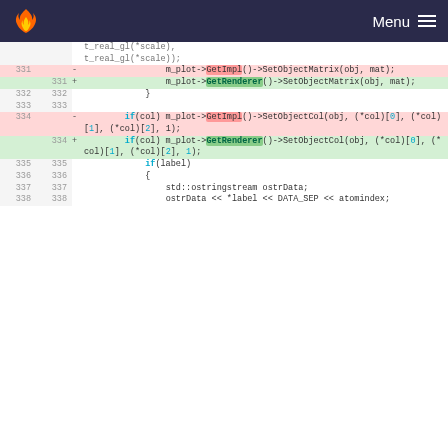Menu
[Figure (screenshot): Code diff view showing lines 331-338 of a C++ source file, with removed lines (red background) using GetImpl() and added lines (green background) using GetRenderer().]